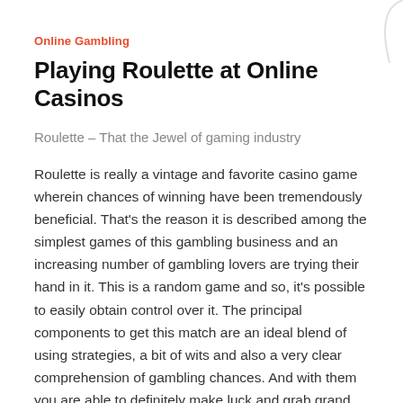Online Gambling
Playing Roulette at Online Casinos
Roulette – That the Jewel of gaming industry
Roulette is really a vintage and favorite casino game wherein chances of winning have been tremendously beneficial. That's the reason it is described among the simplest games of this gambling business and an increasing number of gambling lovers are trying their hand in it. This is a random game and so, it's possible to easily obtain control over it. The principal components to get this match are an ideal blend of using strategies, a bit of wits and also a very clear comprehension of gambling chances. And with them you are able to definitely make luck and grab grand jackpots having an ease.
Roulette is symbolized as the gem of DominoQQ Online